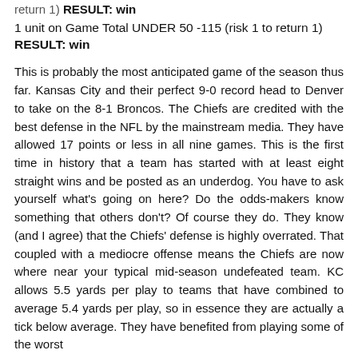return 1)  RESULT: win
1 unit on Game Total UNDER 50 -115 (risk 1 to return 1)  RESULT: win
This is probably the most anticipated game of the season thus far. Kansas City and their perfect 9-0 record head to Denver to take on the 8-1 Broncos. The Chiefs are credited with the best defense in the NFL by the mainstream media. They have allowed 17 points or less in all nine games. This is the first time in history that a team has started with at least eight straight wins and be posted as an underdog. You have to ask yourself what's going on here? Do the odds-makers know something that others don't? Of course they do. They know (and I agree) that the Chiefs' defense is highly overrated. That coupled with a mediocre offense means the Chiefs are now where near your typical mid-season undefeated team. KC allows 5.5 yards per play to teams that have combined to average 5.4 yards per play, so in essence they are actually a tick below average. They have benefited from playing some of the worst